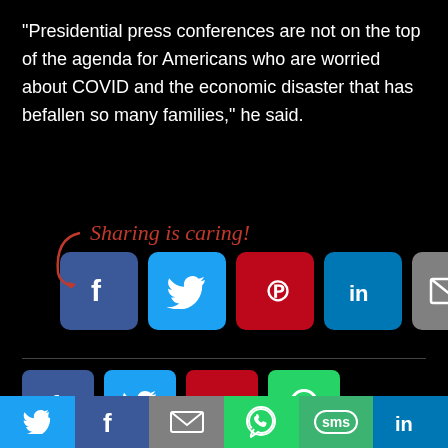“Presidential press conferences are not on the top of the agenda for Americans who are worried about COVID and the economic disaster that has befallen so many families,” he said.
[Figure (screenshot): Sharing is caring section with social media share buttons: Facebook, Twitter, Pinterest, LinkedIn, Email, and a green share button. Curved arrow pointing to buttons. Below a horizontal divider, smaller Facebook, Twitter, Pinterest, and WhatsApp share buttons. An up-arrow icon on the right. Bottom navigation bar with Twitter, Facebook, Email, WhatsApp, SMS, and LinkedIn buttons.]